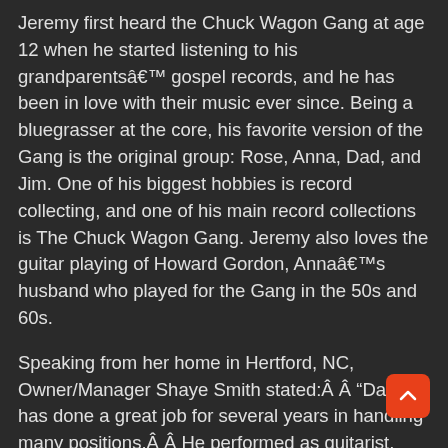Jeremy first heard the Chuck Wagon Gang at age 12 when he started listening to his grandparentsâ€™ gospel records, and he has been in love with their music ever since. Being a bluegrasser at the core, his favorite version of the Gang is the original group: Rose, Anna, Dad, and Jim. One of his biggest hobbies is record collecting, and one of his main record collections is The Chuck Wagon Gang. Jeremy also loves the guitar playing of Howard Gordon, Annaâ€™s husband who played for the Gang in the 50s and 60s.
Speaking from her home in Hertford, NC, Owner/Manager Shaye Smith stated:Â Â “Dave has done a great job for several years in handling many positions.Â Â He performed as guitarist, bass singer, and MC, while also overseeing many administrative duties.Â Â We will miss him, but wish him well in his future endeavors.Â Â There there is great excitement as we bring on board a very talented, young man, a dedicated
[Figure (other): Orange/red rounded square scroll-to-top button with an upward arrow icon]